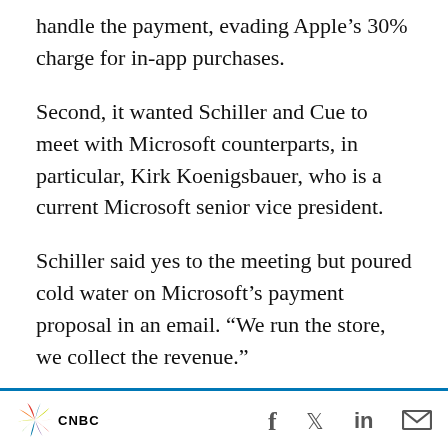handle the payment, evading Apple's 30% charge for in-app purchases.
Second, it wanted Schiller and Cue to meet with Microsoft counterparts, in particular, Kirk Koenigsbauer, who is a current Microsoft senior vice president.
Schiller said yes to the meeting but poured cold water on Microsoft’s payment proposal in an email. “We run the store, we collect the revenue.”
Microsoft did not end up releasing Office for the iPad until 2014, after Steve Nadella became...
CNBC [social icons: Facebook, Twitter, LinkedIn, Email]